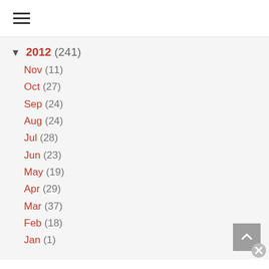☰ (hamburger menu)
▼ 2012 (241)
Nov (11)
Oct (27)
Sep (24)
Aug (24)
Jul (28)
Jun (23)
May (19)
Apr (29)
Mar (37)
Feb (18)
Jan (1)